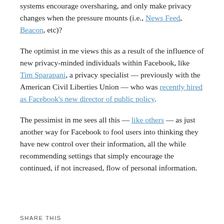systems encourage oversharing, and only make privacy changes when the pressure mounts (i.e., News Feed, Beacon, etc)?
The optimist in me views this as a result of the influence of new privacy-minded individuals within Facebook, like Tim Sparapani, a privacy specialist — previously with the American Civil Liberties Union — who was recently hired as Facebook's new director of public policy.
The pessimist in me sees all this — like others — as just another way for Facebook to fool users into thinking they have new control over their information, all the while recommending settings that simply encourage the continued, if not increased, flow of personal information.
SHARE THIS